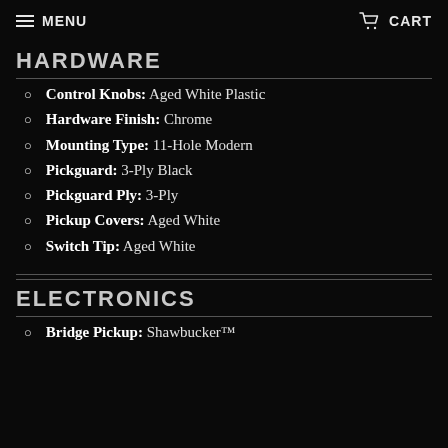MENU  CART
HARDWARE
Control Knobs: Aged White Plastic
Hardware Finish: Chrome
Mounting Type: 11-Hole Modern
Pickguard: 3-Ply Black
Pickguard Ply: 3-Ply
Pickup Covers: Aged White
Switch Tip: Aged White
ELECTRONICS
Bridge Pickup: Shawbucker™